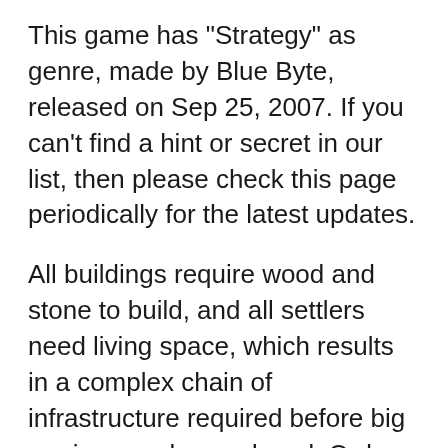This game has "Strategy" as genre, made by Blue Byte, released on Sep 25, 2007. If you can't find a hint or secret in our list, then please check this page periodically for the latest updates.
All buildings require wood and stone to build, and all settlers need living space, which results in a complex chain of infrastructure required before big armies may be produced. Order. Usually, the player will start by building foresters, woodcutters, stone masons and sawmills to get base building materials. This page contains Cheats for The Settlers: Rise Of An Empire organized by sections for PC. This game has "Strategy" as genre, made by Blue